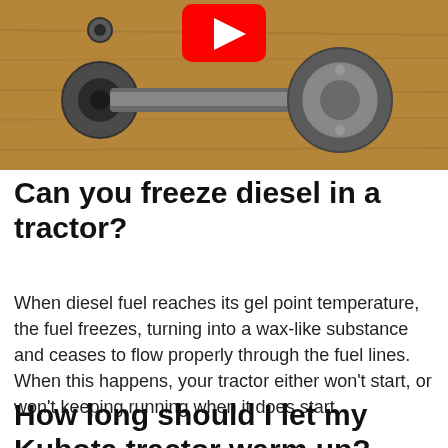[Figure (photo): Photo of a mechanical engine connecting rod/piston component lying on a wooden surface, with a red YouTube play button overlay in the upper center area.]
Can you freeze diesel in a tractor?
When diesel fuel reaches its gel point temperature, the fuel freezes, turning into a wax-like substance and ceases to flow properly through the fuel lines. When this happens, your tractor either won't start, or won't keeping running when it does start.
How long should I let my Kubota tractor warm up?